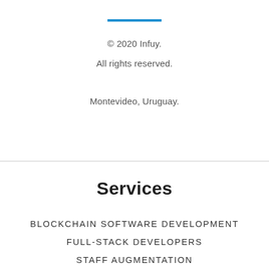© 2020 Infuy.
All rights reserved.
Montevideo, Uruguay.
Services
BLOCKCHAIN SOFTWARE DEVELOPMENT
FULL-STACK DEVELOPERS
STAFF AUGMENTATION